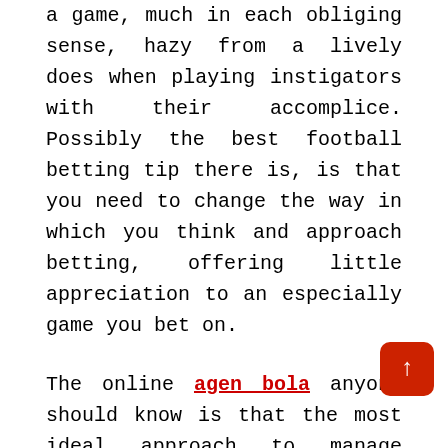a game, much in each obliging sense, hazy from a lively does when playing instigators with their accomplice. Possibly the best football betting tip there is, is that you need to change the way in which you think and approach betting, offering little appreciation to an especially game you bet on.
The online agen bola anyone should know is that the most ideal approach to manage direct control winning is the way wherein you approach betting with everything considered. As a last resort, even before they put down a bet, they guarantee they are completely familiar with online football betting. It is in their blood and all around that truly matters, brand name. Gifted bettors ceaselessly complete their work. Various people a general point of view pick a get-together that has a name they like and put down their bet. Fit bettors